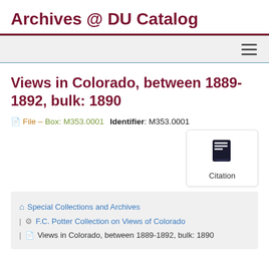Archives @ DU Catalog
Views in Colorado, between 1889-1892, bulk: 1890
File – Box: M353.0001   Identifier: M353.0001
[Figure (illustration): Citation button with book icon]
Special Collections and Archives | F.C. Potter Collection on Views of Colorado | Views in Colorado, between 1889-1892, bulk: 1890